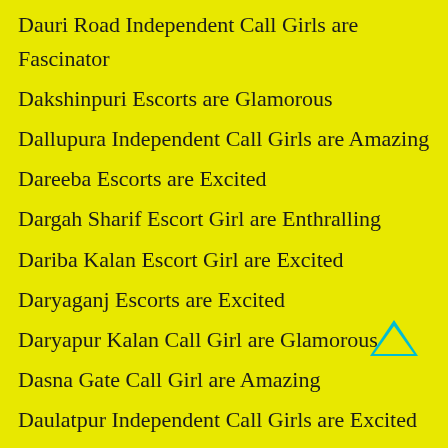Dauri Road Independent Call Girls are Fascinator
Dakshinpuri Escorts are Glamorous
Dallupura Independent Call Girls are Amazing
Dareeba Escorts are Excited
Dargah Sharif Escort Girl are Enthralling
Dariba Kalan Escort Girl are Excited
Daryaganj Escorts are Excited
Daryapur Kalan Call Girl are Glamorous
Dasna Gate Call Girl are Amazing
Daulatpur Independent Call Girls are Excited
Daya Basti Escort Girl are Enthralling
Dayalpur Escorts are Amazing
Dayanand Colony Independent Escort are Enthralling
[Figure (other): Cyan/blue upward chevron arrow scroll-to-top button]